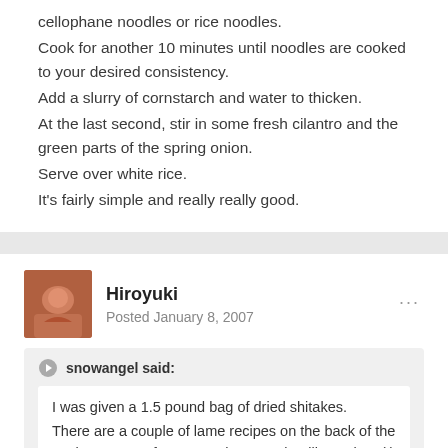cellophane noodles or rice noodles.
Cook for another 10 minutes until noodles are cooked to your desired consistency.
Add a slurry of cornstarch and water to thicken.
At the last second, stir in some fresh cilantro and the green parts of the spring onion.
Serve over white rice.
It's fairly simple and really really good.
Hiroyuki
Posted January 8, 2007
snowangel said:
I was given a 1.5 pound bag of dried shitakes.
There are a couple of lame recipes on the back of the package -- one for a soup that uses boullion cubes (!) and one for a chinese stir fry thing.
What would you do with these?